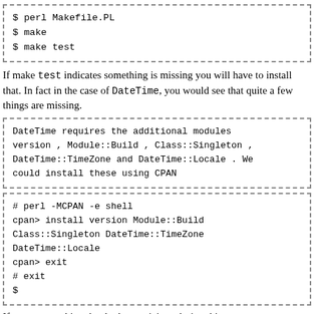[Figure (other): Code block with dashed border showing: $ perl Makefile.PL
$ make
$ make test]
If make test indicates something is missing you will have to install that. In fact in the case of DateTime, you would see that quite a few things are missing.
[Figure (other): Code/text block with dashed border: DateTime requires the additional modules version , Module::Build , Class::Singleton , DateTime::TimeZone and DateTime::Locale . We could install these using CPAN]
[Figure (other): Code block with dashed border: # perl -MCPAN -e shell
cpan> install version Module::Build
Class::Singleton DateTime::TimeZone
DateTime::Locale
cpan> exit
# exit
$]
If you see anything that looks suspicious during this process you...